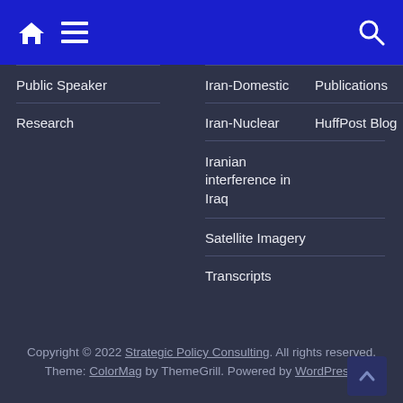Navigation bar with home, menu, and search icons
Public Speaker
Research
Iran-Domestic
Iran-Nuclear
Iranian interference in Iraq
Satellite Imagery
Transcripts
Publications
HuffPost Blog
Copyright © 2022 Strategic Policy Consulting. All rights reserved. Theme: ColorMag by ThemeGrill. Powered by WordPress.